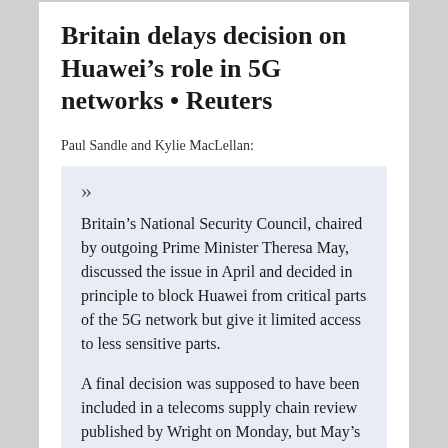Britain delays decision on Huawei's role in 5G networks • Reuters
Paul Sandle and Kylie MacLellan:
» Britain's National Security Council, chaired by outgoing Prime Minister Theresa May, discussed the issue in April and decided in principle to block Huawei from critical parts of the 5G network but give it limited access to less sensitive parts.

A final decision was supposed to have been included in a telecoms supply chain review published by Wright on Monday, but May's